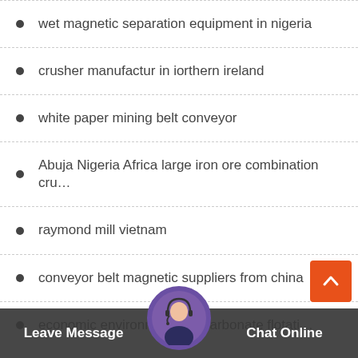wet magnetic separation equipment in nigeria
crusher manufactur in iorthern ireland
white paper mining belt conveyor
Abuja Nigeria Africa large iron ore combination cru…
raymond mill vietnam
conveyor belt magnetic suppliers from china
economic environme…ium carbonate flotati…
Leave Message   Chat Online